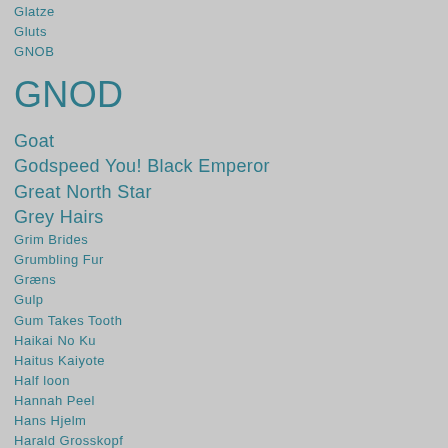Glatze
Gluts
GNOB
GNOD
Goat
Godspeed You! Black Emperor
Great North Star
Grey Hairs
Grim Brides
Grumbling Fur
Græns
Gulp
Gum Takes Tooth
Haikai No Ku
Haitus Kaiyote
Half loon
Hannah Peel
Hans Hjelm
Harald Grosskopf
Harmonious Theolonious
Has A Shadow